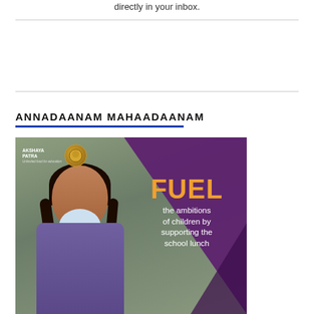directly in your inbox.
ANNADAANAM MAHAADAANAM
[Figure (photo): Akshaya Patra advertisement showing a smiling schoolgirl with text 'FUEL the ambitions of children by supporting the school lunch' overlaid on a purple triangle. The Akshaya Patra logo appears in the top-left corner.]